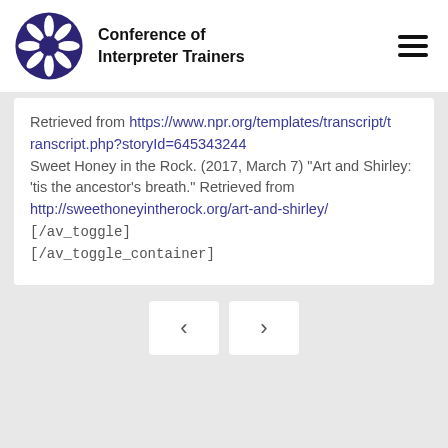[Figure (logo): Conference of Interpreter Trainers spiral logo in dark purple]
Conference of Interpreter Trainers
Retrieved from https://www.npr.org/templates/transcript/transcript.php?storyId=645343244 Sweet Honey in the Rock. (2017, March 7) "Art and Shirley: 'tis the ancestor's breath." Retrieved from http://sweethoneyintherock.org/art-and-shirley/ [/av_toggle] [/av_toggle_container]